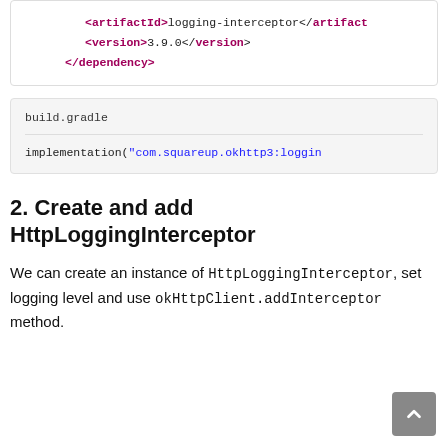<artifactId>logging-interceptor</artifactId>
    <version>3.9.0</version>
</dependency>
build.gradle
implementation("com.squareup.okhttp3:logging-interceptor:3.9.0")
2. Create and add HttpLoggingInterceptor
We can create an instance of HttpLoggingInterceptor, set logging level and use okHttpClient.addInterceptor method.